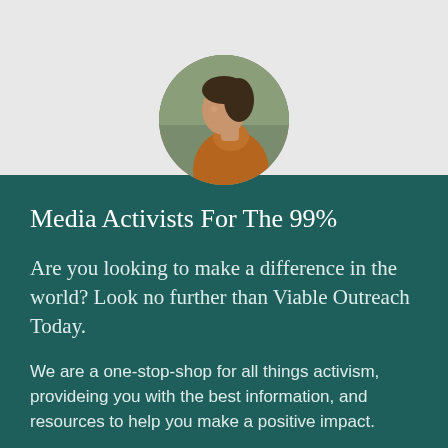[Figure (photo): Circular cropped photo of a person wearing a brown turtleneck sweater, shown from the side/profile, with natural outdoor background.]
Media Activists For The 99%
Are you looking to make a difference in the world? Look no further than Viable Outreach Today.
We are a one-stop-shop for all things activism, provideing you with the best information, and resources to help you make a positive impact.